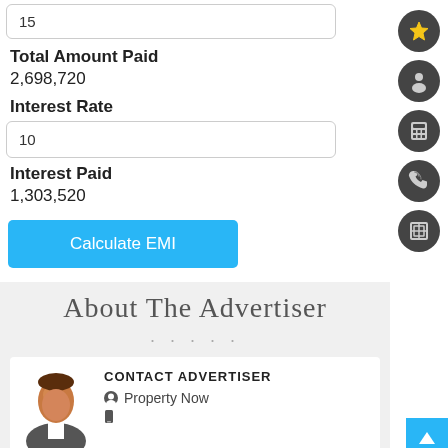15
Total Amount Paid
2,698,720
Interest Rate
10
Interest Paid
1,303,520
Calculate EMI
About The Advertiser
CONTACT ADVERTISER
Property Now